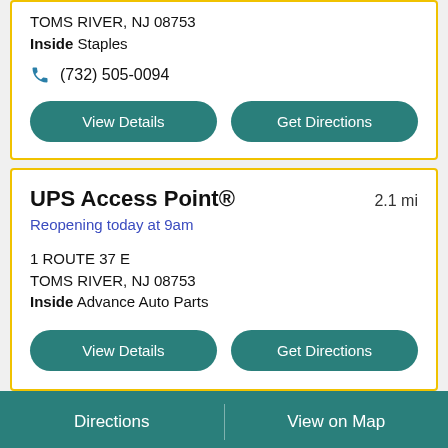TOMS RIVER, NJ 08753
Inside Staples
(732) 505-0094
View Details
Get Directions
UPS Access Point®
2.1 mi
Reopening today at 9am
1 ROUTE 37 E
TOMS RIVER, NJ 08753
Inside Advance Auto Parts
View Details
Get Directions
Directions   View on Map